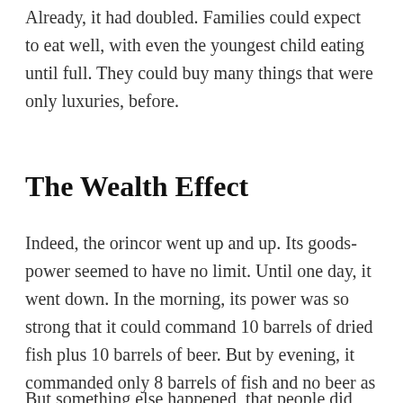Already, it had doubled. Families could expect to eat well, with even the youngest child eating until full. They could buy many things that were only luxuries, before.
The Wealth Effect
Indeed, the orincor went up and up. Its goods-power seemed to have no limit. Until one day, it went down. In the morning, its power was so strong that it could command 10 barrels of dried fish plus 10 barrels of beer. But by evening, it commanded only 8 barrels of fish and no beer as remainder. This was dismaying, and some families had to tighten their belts.
But something else happened, that people did not